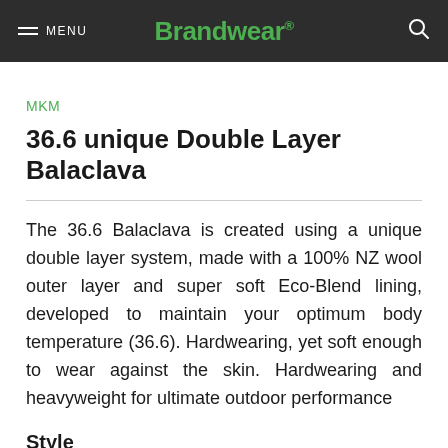MENU | Brandwear®
MKM
36.6 unique Double Layer Balaclava
The 36.6 Balaclava is created using a unique double layer system, made with a 100% NZ wool outer layer and super soft Eco-Blend lining, developed to maintain your optimum body temperature (36.6). Hardwearing, yet soft enough to wear against the skin. Hardwearing and heavyweight for ultimate outdoor performance
Style
MX1649